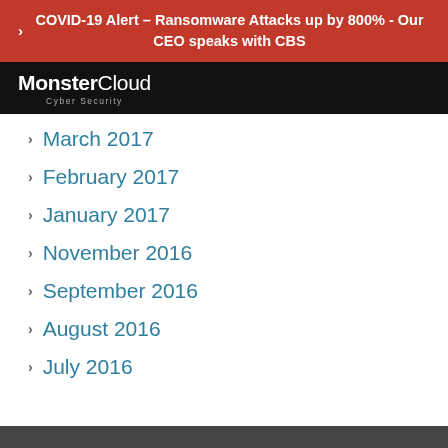COVID-19 Alert – Ransomware Attacks up by 800% - Our CEO speaks with CBS
[Figure (logo): MonsterCloud Cyber Security logo — white text on black background]
March 2017
February 2017
January 2017
November 2016
September 2016
August 2016
July 2016